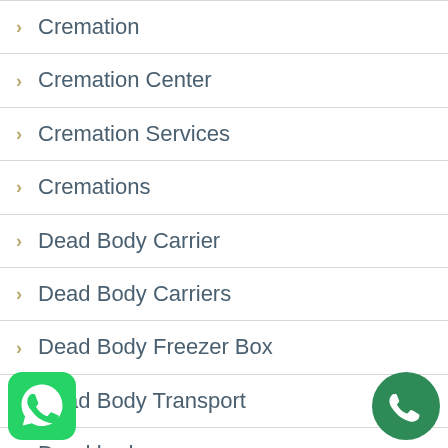Cremation
Cremation Center
Cremation Services
Cremations
Dead Body Carrier
Dead Body Carriers
Dead Body Freezer Box
Dead Body Transport
Dead body van